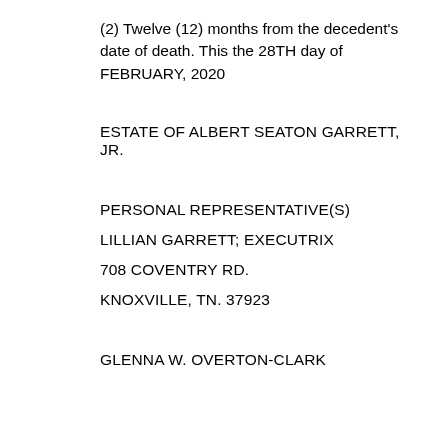(2) Twelve (12) months from the decedent's date of death. This the 28TH day of FEBRUARY, 2020
ESTATE OF ALBERT SEATON GARRETT, JR.
PERSONAL REPRESENTATIVE(S)
LILLIAN GARRETT; EXECUTRIX
708 COVENTRY RD.
KNOXVILLE, TN. 37923
GLENNA W. OVERTON-CLARK